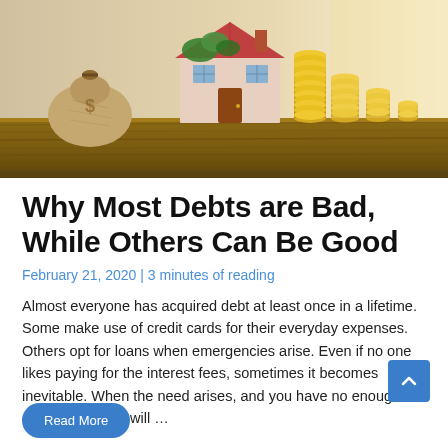[Figure (photo): Hero image showing a miniature house model with green plants, a burlap money bag, and stacks of gold coins arranged on a wooden surface with warm lighting]
Why Most Debts are Bad, While Others Can Be Good
February 21, 2020 | 3 minutes of reading
Almost everyone has acquired debt at least once in a lifetime. Some make use of credit cards for their everyday expenses. Others opt for loans when emergencies arise. Even if no one likes paying for the interest fees, sometimes it becomes inevitable. When the need arises, and you have no enough extra funds, one will …